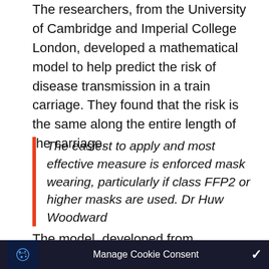The researchers, from the University of Cambridge and Imperial College London, developed a mathematical model to help predict the risk of disease transmission in a train carriage. They found that the risk is the same along the entire length of the carriage.
The easiest to apply and most effective measure is enforced mask wearing, particularly if class FFP2 or higher masks are used. Dr Huw Woodward
The model, developed from controlled experiments in a real train carriage, also shows
Manage Cookie Consent